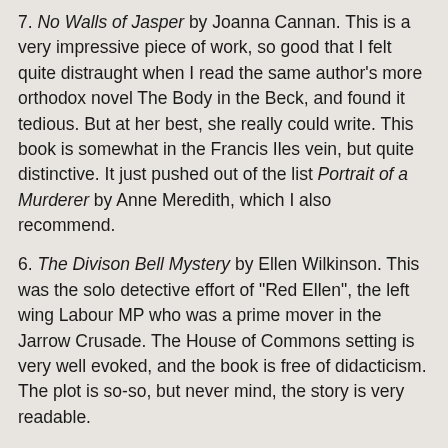7. No Walls of Jasper by Joanna Cannan. This is a very impressive piece of work, so good that I felt quite distraught when I read the same author's more orthodox novel The Body in the Beck, and found it tedious. But at her best, she really could write. This book is somewhat in the Francis Iles vein, but quite distinctive. It just pushed out of the list Portrait of a Murderer by Anne Meredith, which I also recommend.
6. The Divison Bell Mystery by Ellen Wilkinson. This was the solo detective effort of "Red Ellen", the left wing Labour MP who was a prime mover in the Jarrow Crusade. The House of Commons setting is very well evoked, and the book is free of didacticism. The plot is so-so, but never mind, the story is very readable.
5. The Sweepstake Murder by J.J. Connington. This is a really clever and enthralling story, a fresh take on the "who will be next?" theme that makes And Then There Were None so irresistible.
4. The Grindle Nightmare by Q.Patrick. A very clever mystery with a great US setting and an astonishingly dark storyline.